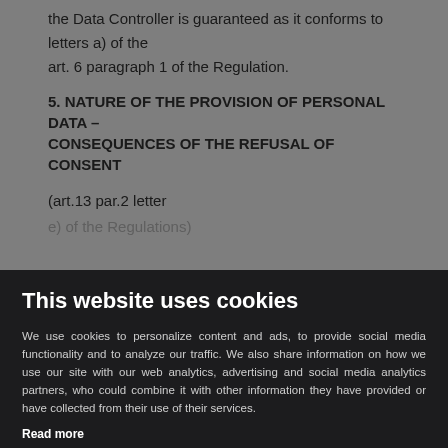the Data Controller is guaranteed as it conforms to letters a) of the art. 6 paragraph 1 of the Regulation.
5. NATURE OF THE PROVISION OF PERSONAL DATA – CONSEQUENCES OF THE REFUSAL OF CONSENT (art.13 par.2 letter e) of the Regulations)
[Figure (screenshot): Cookie consent banner overlay on dark background. Title: 'This website uses cookies'. Body text about personalization and analytics. 'Read more' link. Checkbox for 'Necessary'. 'Powered by dmsCookie' footer with Accept button.]